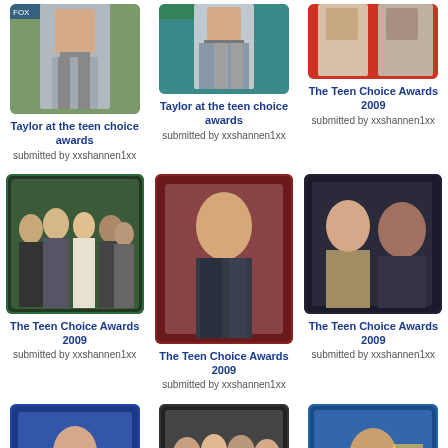[Figure (photo): Person in jeans and t-shirt at Teen Choice Awards, partial top crop]
Taylor at the teen choice awards
submitted by xxshannen1xx
[Figure (photo): Person in vest at Teen Choice Awards, partial top crop]
Taylor at the teen choice awards
submitted by xxshannen1xx
[Figure (photo): Two people at Teen Choice Awards, partial top crop]
The Teen Choice Awards 2009
submitted by xxshannen1xx
[Figure (photo): Group of people at Teen Choice Awards 2009]
The Teen Choice Awards 2009
submitted by xxshannen1xx
[Figure (photo): Young man seated at Teen Choice Awards 2009]
The Teen Choice Awards 2009
submitted by xxshannen1xx
[Figure (photo): Two women at Teen Choice Awards 2009]
The Teen Choice Awards 2009
submitted by xxshannen1xx
[Figure (photo): Young woman at microphone at Teen Choice Awards 2009]
The Teen Choice Awards 2009
[Figure (photo): Group of people at Teen Choice Awards 2009]
The Teen Choice Awards 2009
submitted by xxshannen1xx
[Figure (photo): Person at microphone at Teen Choice Awards 2009]
The Teen Choice Awards 2009